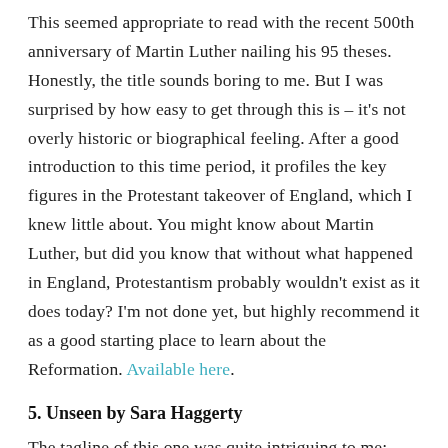This seemed appropriate to read with the recent 500th anniversary of Martin Luther nailing his 95 theses. Honestly, the title sounds boring to me. But I was surprised by how easy to get through this is – it's not overly historic or biographical feeling. After a good introduction to this time period, it profiles the key figures in the Protestant takeover of England, which I knew little about. You might know about Martin Luther, but did you know that without what happened in England, Protestantism probably wouldn't exist as it does today? I'm not done yet, but highly recommend it as a good starting place to learn about the Reformation. Available here.
5. Unseen by Sara Haggerty
The tagline of this one was quite intriguing to me: "The Gift of Being Hidden in a World That Loves to Be